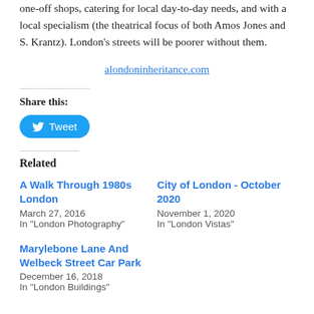one-off shops, catering for local day-to-day needs, and with a local specialism (the theatrical focus of both Amos Jones and S. Krantz). London's streets will be poorer without them.
alondoninheritance.com
Share this:
[Figure (other): Tweet button with Twitter bird icon]
Related
A Walk Through 1980s London
March 27, 2016
In "London Photography"
City of London - October 2020
November 1, 2020
In "London Vistas"
Marylebone Lane And Welbeck Street Car Park
December 16, 2018
In "London Buildings"